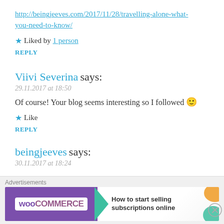http://beingjeeves.com/2017/11/28/travelling-alone-what-you-need-to-know/
★ Liked by 1 person
REPLY
Viivi Severina says:
29.11.2017 at 18:50
Of course! Your blog seems interesting so I followed 🙂
★ Like
REPLY
beingjeeves says:
30.11.2017 at 18:24
Advertisements
[Figure (other): WooCommerce advertisement banner: 'How to start selling subscriptions online']